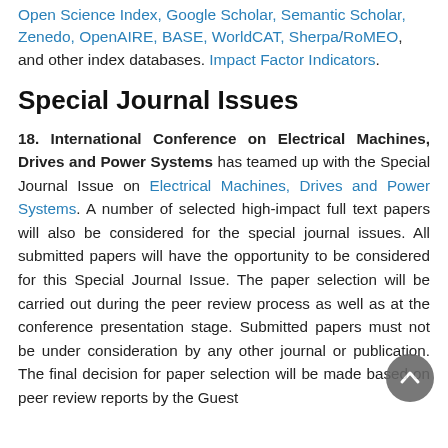Open Science Index, Google Scholar, Semantic Scholar, Zenedo, OpenAIRE, BASE, WorldCAT, Sherpa/RoMEO, and other index databases. Impact Factor Indicators.
Special Journal Issues
18. International Conference on Electrical Machines, Drives and Power Systems has teamed up with the Special Journal Issue on Electrical Machines, Drives and Power Systems. A number of selected high-impact full text papers will also be considered for the special journal issues. All submitted papers will have the opportunity to be considered for this Special Journal Issue. The paper selection will be carried out during the peer review process as well as at the conference presentation stage. Submitted papers must not be under consideration by any other journal or publication. The final decision for paper selection will be made based on peer review reports by the Guest